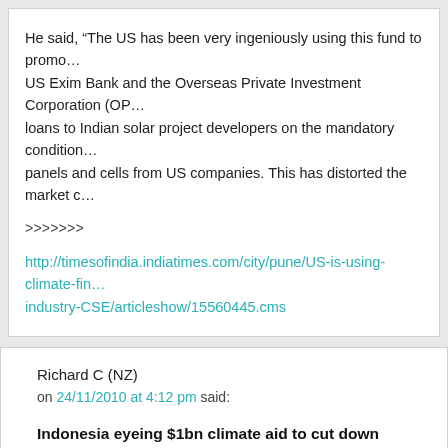He said, “The US has been very ingeniously using this fund to promo... US Exim Bank and the Overseas Private Investment Corporation (OP... loans to Indian solar project developers on the mandatory condition... panels and cells from US companies. This has distorted the market c...
>>>>>>>
http://timesofindia.indiatimes.com/city/pune/US-is-using-climate-fin... industry-CSE/articleshow/15560445.cms
Richard C (NZ)
on 24/11/2010 at 4:12 pm said:
Indonesia eyeing $1bn climate aid to cut down forests, says Greenpe...
The Guardian, Tuesday 23 November 2010